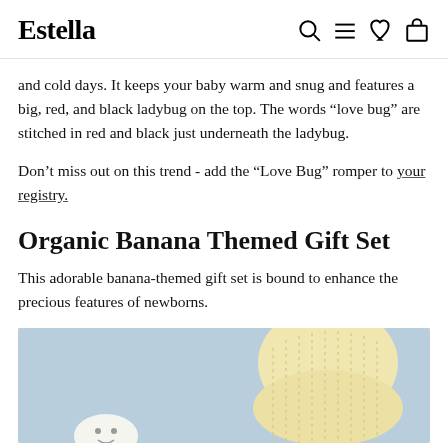Estella
and cold days. It keeps your baby warm and snug and features a big, red, and black ladybug on the top. The words “love bug” are stitched in red and black just underneath the ladybug.
Don’t miss out on this trend - add the “Love Bug” romper to your registry.
Organic Banana Themed Gift Set
This adorable banana-themed gift set is bound to enhance the precious features of newborns.
[Figure (photo): Photo on light blue background showing a pale yellow knitted baby hat with a small white item at the bottom.]